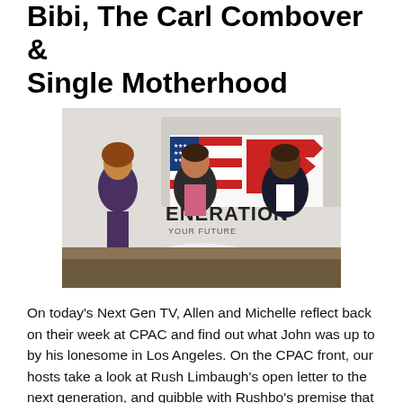Bibi, The Carl Combover & Single Motherhood
[Figure (photo): Three people (two women and one man, or two men and one woman) seated around a white round table in a TV studio setting. A banner behind them reads 'GENERATION' with an American flag motif and arrows. One woman wears a purple dress, the man in the center wears a pink shirt with a dark jacket, and the man on the right wears a dark suit.]
On today's Next Gen TV, Allen and Michelle reflect back on their week at CPAC and find out what John was up to by his lonesome in Los Angeles. On the CPAC front, our hosts take a look at Rush Limbaugh's open letter to the next generation, and quibble with Rushbo's premise that they need to do something important for anyone to pay attention to them.